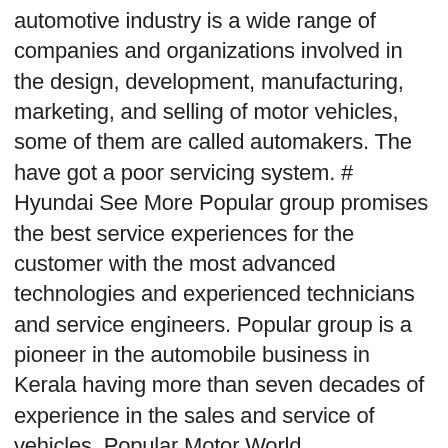automotive industry is a wide range of companies and organizations involved in the design, development, manufacturing, marketing, and selling of motor vehicles, some of them are called automakers. The have got a poor servicing system. # Hyundai See More Popular group promises the best service experiences for the customer with the most advanced technologies and experienced technicians and service engineers. Popular group is a pioneer in the automobile business in Kerala having more than seven decades of experience in the sales and service of vehicles. Popular Motor World Pvt.Ltd.Thadathil Buildings,sastri Road Kottayam, Kottayam, Kottayam - 686001 | Now, “Popular Hyundai” is the No.1 Hyundai car dealer in Kerala with showrooms and service centers spread across. Enjoy the videos and music you love, upload original content, and share it all with friends, family, and the world on YouTube. . All Rights Reserved. The dealership is located at Kottayam south P.O,kodimatha, Opp To Royal Furniture, Kottayam, 686039 and you can book a service by calling or visiting the service center for